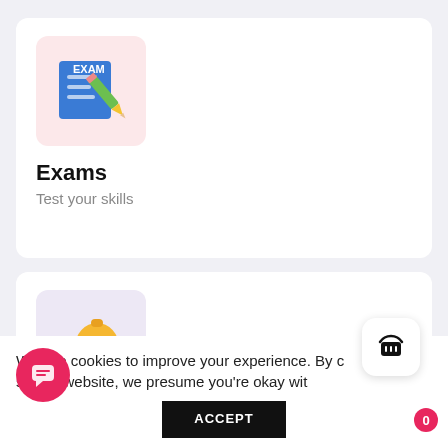[Figure (illustration): Exam icon: blue exam paper with pencil on pink/rose background]
Exams
Test your skills
[Figure (illustration): Money bag with pound sign and blue bar on lavender background representing certifications/financial]
Certifications
We use cookies to improve your experience. By continuing to use this website, we presume you're okay with
ACCEPT